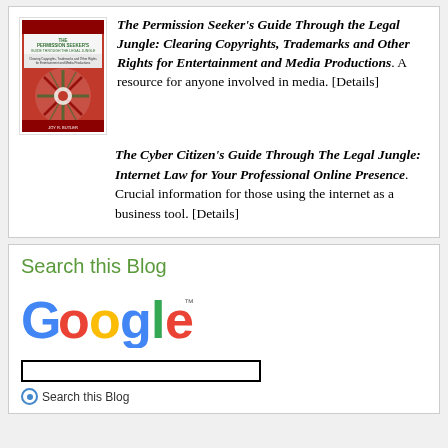The Permission Seeker's Guide Through the Legal Jungle: Clearing Copyrights, Trademarks and Other Rights for Entertainment and Media Productions. A resource for anyone involved in media. [Details]
[Figure (illustration): Book cover for The Permission Seeker's Guide Through the Legal Jungle showing a compass/starburst design on red background]
The Cyber Citizen's Guide Through The Legal Jungle: Internet Law for Your Professional Online Presence. Crucial information for those using the internet as a business tool. [Details]
Search this Blog
[Figure (logo): Google logo]